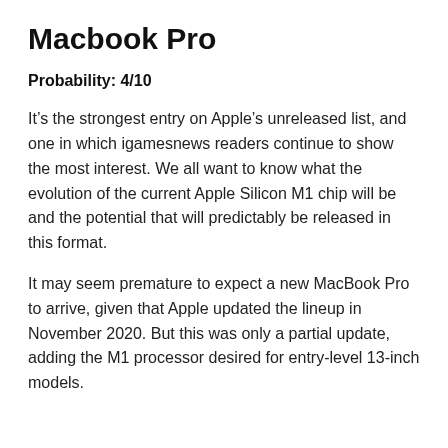Macbook Pro
Probability: 4/10
It’s the strongest entry on Apple’s unreleased list, and one in which igamesnews readers continue to show the most interest. We all want to know what the evolution of the current Apple Silicon M1 chip will be and the potential that will predictably be released in this format.
It may seem premature to expect a new MacBook Pro to arrive, given that Apple updated the lineup in November 2020. But this was only a partial update, adding the M1 processor desired for entry-level 13-inch models.